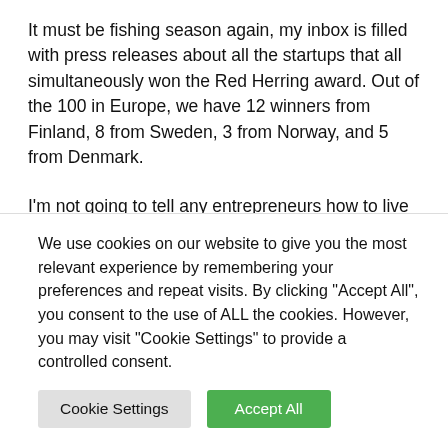It must be fishing season again, my inbox is filled with press releases about all the startups that all simultaneously won the Red Herring award. Out of the 100 in Europe, we have 12 winners from Finland, 8 from Sweden, 3 from Norway, and 5 from Denmark.
I'm not going to tell any entrepreneurs how to live their life, but I'm going to lay it out as I see it. A startup's journey doesn't necessarily come with a lot of external affirmation, so [text continues but is partially obscured]
We use cookies on our website to give you the most relevant experience by remembering your preferences and repeat visits. By clicking "Accept All", you consent to the use of ALL the cookies. However, you may visit "Cookie Settings" to provide a controlled consent.